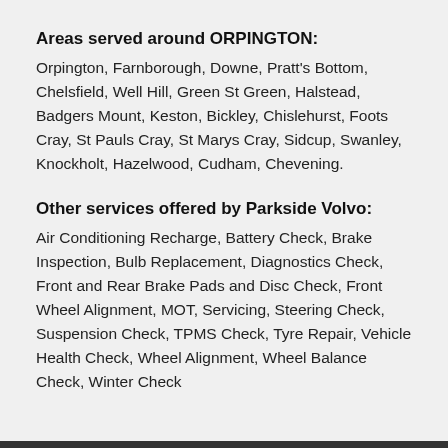Areas served around ORPINGTON:
Orpington, Farnborough, Downe, Pratt's Bottom, Chelsfield, Well Hill, Green St Green, Halstead, Badgers Mount, Keston, Bickley, Chislehurst, Foots Cray, St Pauls Cray, St Marys Cray, Sidcup, Swanley, Knockholt, Hazelwood, Cudham, Chevening.
Other services offered by Parkside Volvo:
Air Conditioning Recharge, Battery Check, Brake Inspection, Bulb Replacement, Diagnostics Check, Front and Rear Brake Pads and Disc Check, Front Wheel Alignment, MOT, Servicing, Steering Check, Suspension Check, TPMS Check, Tyre Repair, Vehicle Health Check, Wheel Alignment, Wheel Balance Check, Winter Check